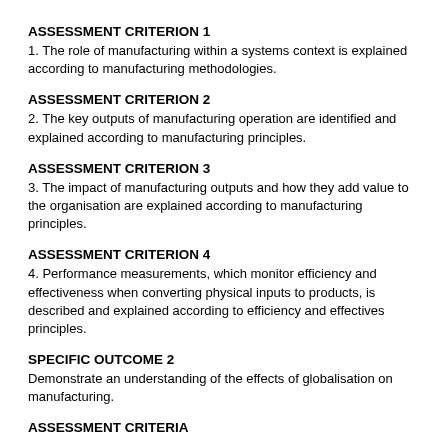ASSESSMENT CRITERION 1
1. The role of manufacturing within a systems context is explained according to manufacturing methodologies.
ASSESSMENT CRITERION 2
2. The key outputs of manufacturing operation are identified and explained according to manufacturing principles.
ASSESSMENT CRITERION 3
3. The impact of manufacturing outputs and how they add value to the organisation are explained according to manufacturing principles.
ASSESSMENT CRITERION 4
4. Performance measurements, which monitor efficiency and effectiveness when converting physical inputs to products, is described and explained according to efficiency and effectives principles.
SPECIFIC OUTCOME 2
Demonstrate an understanding of the effects of globalisation on manufacturing.
ASSESSMENT CRITERIA
ASSESSMENT CRITERION 1
1. Negative and positive impacts of globalisation on the manufacturing process are explained according to globalisation principles.